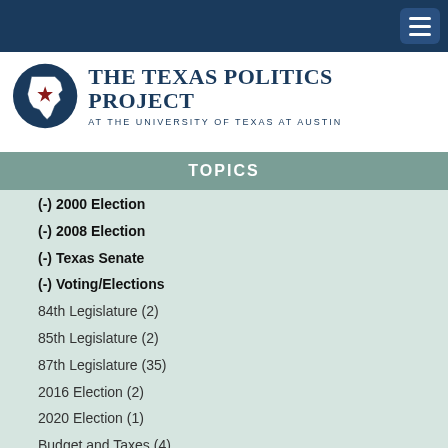[Figure (logo): The Texas Politics Project at The University of Texas at Austin logo with Texas state outline and star]
TOPICS
(-) 2000 Election
(-) 2008 Election
(-) Texas Senate
(-) Voting/Elections
84th Legislature (2)
85th Legislature (2)
87th Legislature (35)
2016 Election (2)
2020 Election (1)
Budget and Taxes (4)